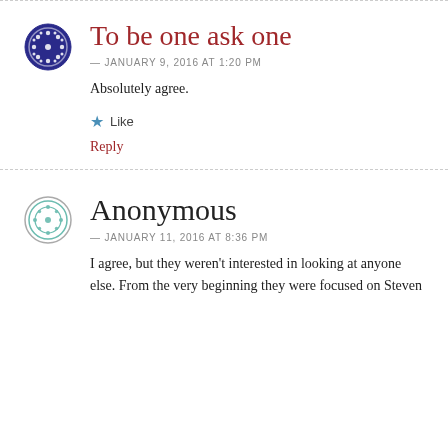To be one ask one
— JANUARY 9, 2016 AT 1:20 PM
Absolutely agree.
Like
Reply
Anonymous
— JANUARY 11, 2016 AT 8:36 PM
I agree, but they weren't interested in looking at anyone else. From the very beginning they were focused on Steven